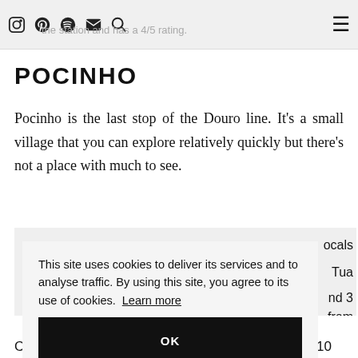the station and has a 4/5 rating.
POCINHO
Pocinho is the last stop of the Douro line. It's a small village that you can explore relatively quickly but there's not a place with much to see.
This site uses cookies to deliver its services and to analyse traffic. By using this site, you agree to its use of cookies. Learn more
OK
Campanha to Pocinho it is €12 – €14 and 3 hours 10